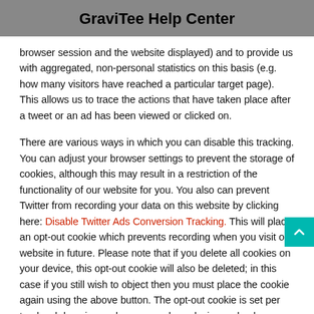GraviTee Help Center
browser session and the website displayed) and to provide us with aggregated, non-personal statistics on this basis (e.g. how many visitors have reached a particular target page). This allows us to trace the actions that have taken place after a tweet or an ad has been viewed or clicked on.
There are various ways in which you can disable this tracking. You can adjust your browser settings to prevent the storage of cookies, although this may result in a restriction of the functionality of our website for you. You also can prevent Twitter from recording your data on this website by clicking here: Disable Twitter Ads Conversion Tracking. This will place an opt-out cookie which prevents recording when you visit our website in future. Please note that if you delete all cookies on your device, this opt-out cookie will also be deleted; in this case if you still wish to object then you must place the cookie again using the above button. The opt-out cookie is set per top-level domain, per browser and per device and only prevents the recording of data for this website. In addition, you can disable